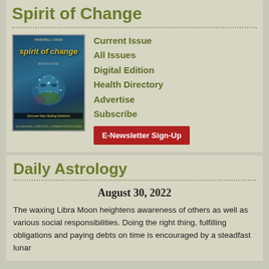Spirit of Change
Current Issue
All Issues
Digital Edition
Health Directory
Advertise
Subscribe
[Figure (illustration): Magazine cover of Spirit of Change showing a glowing ethereal face with stars]
E-Newsletter Sign-Up
Daily Astrology
August 30, 2022
The waxing Libra Moon heightens awareness of others as well as various social responsibilities. Doing the right thing, fulfilling obligations and paying debts on time is encouraged by a steadfast lunar...